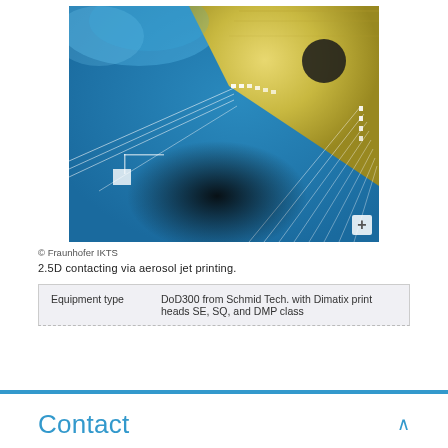[Figure (photo): Close-up macro photo of a microelectronic chip on a blue circuit board with fine conductive lines (aerosol jet printed traces) connecting the chip edges to the board, showing 2.5D contacting via aerosol jet printing.]
© Fraunhofer IKTS
2.5D contacting via aerosol jet printing.
| Equipment type | DoD300 from Schmid Tech. with Dimatix print heads SE, SQ, and DMP class |
| --- | --- |
Contact